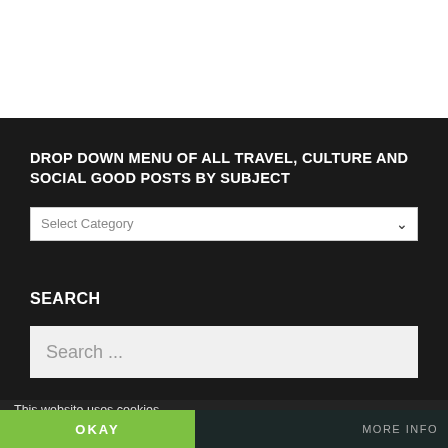DROP DOWN MENU OF ALL TRAVEL, CULTURE AND SOCIAL GOOD POSTS BY SUBJECT
[Figure (screenshot): A dropdown/select input box with placeholder text 'Select Category' and a dropdown arrow on the right]
SEARCH
[Figure (screenshot): A search input box with placeholder text 'Search ...']
This website uses cookies
OKAY
MORE INFO